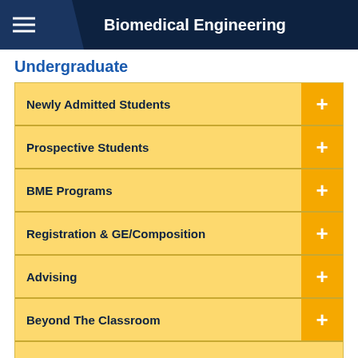Biomedical Engineering
Undergraduate
Newly Admitted Students
Prospective Students
BME Programs
Registration & GE/Composition
Advising
Beyond The Classroom
ABET